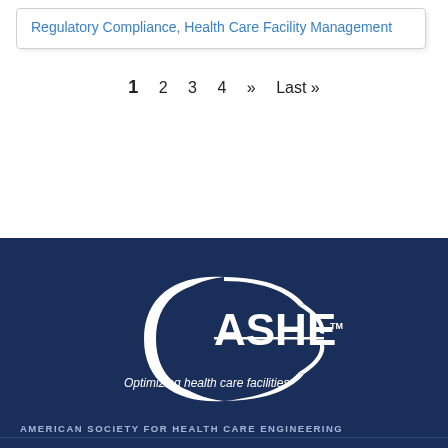Regulatory Compliance, Health Care Facility Management
1  2  3  4  »  Last »
[Figure (logo): ASHE logo — white swoosh/crescent shape with text 'ASHE' and tagline 'Optimizing health care facilities' on dark navy background]
AMERICAN SOCIETY FOR HEALTH CARE ENGINEERING